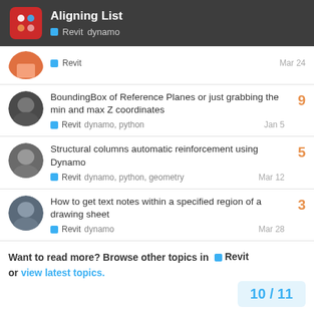Aligning List — Revit dynamo
Revit — Mar 24
BoundingBox of Reference Planes or just grabbing the min and max Z coordinates — Revit dynamo, python — Jan 5 — 9 replies
Structural columns automatic reinforcement using Dynamo — Revit dynamo, python, geometry — Mar 12 — 5 replies
How to get text notes within a specified region of a drawing sheet — Revit dynamo — Mar 28 — 3 replies
Want to read more? Browse other topics in Revit or view latest topics.
10 / 11